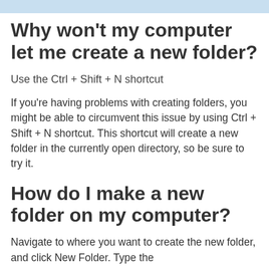Why won't my computer let me create a new folder?
Use the Ctrl + Shift + N shortcut
If you're having problems with creating folders, you might be able to circumvent this issue by using Ctrl + Shift + N shortcut. This shortcut will create a new folder in the currently open directory, so be sure to try it.
How do I make a new folder on my computer?
Navigate to where you want to create the new folder, and click New Folder. Type the name of the folder, and press Enter.